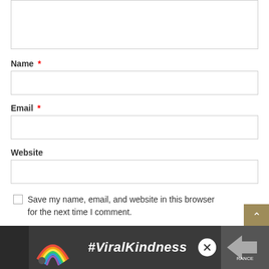[Figure (screenshot): Comment form with text area at top, Name field with red asterisk, Email field with red asterisk, Website field, and a checkbox for saving browser info. UI overlays include a gold scroll-to-top button, a teal heart button, and a number badge '1'. Bottom has a dark ad banner with rainbow image and #ViralKindness text.]
Name *
Email *
Website
Save my name, email, and website in this browser for the next time I comment.